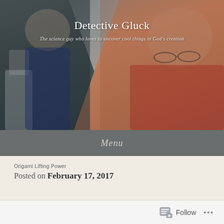[Figure (photo): Header photo showing a young boy looking through a microscope on the left, and an older man with glasses wearing a red shirt on the right, against a gray background. Blog header image for Detective Gluck science blog.]
Detective Gluck
The science guy who loves to uncover cool things in God's creation
Menu
Origami Lifting Power
Posted on February 17, 2017
Follow